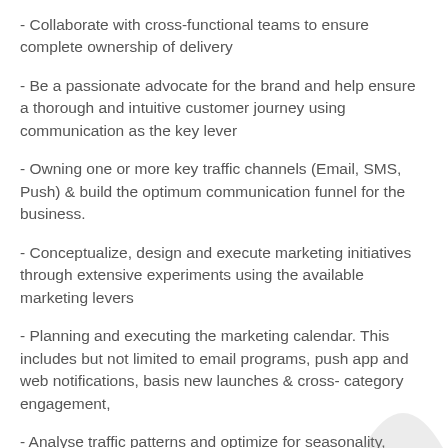- Collaborate with cross-functional teams to ensure complete ownership of delivery
- Be a passionate advocate for the brand and help ensure a thorough and intuitive customer journey using communication as the key lever
- Owning one or more key traffic channels (Email, SMS, Push) & build the optimum communication funnel for the business.
- Conceptualize, design and execute marketing initiatives through extensive experiments using the available marketing levers
- Planning and executing the marketing calendar. This includes but not limited to email programs, push app and web notifications, basis new launches & cross- category engagement,
- Analyse traffic patterns and optimize for seasonality, relevance, and selection.
- Regularly develop, test and analyse new marketing tactics to sell products across all categories and increase conversion rates,